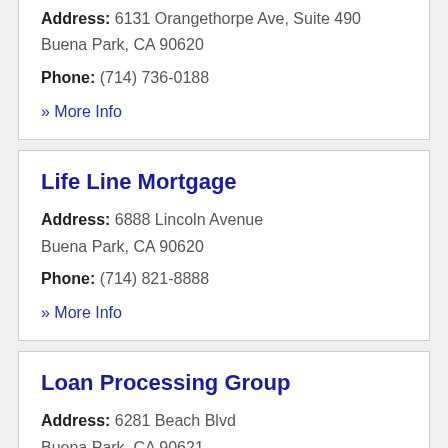Address: 6131 Orangethorpe Ave, Suite 490 Buena Park, CA 90620
Phone: (714) 736-0188
» More Info
Life Line Mortgage
Address: 6888 Lincoln Avenue Buena Park, CA 90620
Phone: (714) 821-8888
» More Info
Loan Processing Group
Address: 6281 Beach Blvd Buena Park, CA 90621